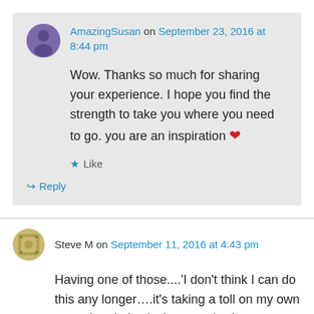AmazingSusan on September 23, 2016 at 8:44 pm
Wow. Thanks so much for sharing your experience. I hope you find the strength to take you where you need to go. you are an inspiration ❤
Like
Reply
Steve M on September 11, 2016 at 4:43 pm
Having one of those....'I don't think I can do this any longer….it's taking a toll on my own mental and physical state….'….but ….finding this